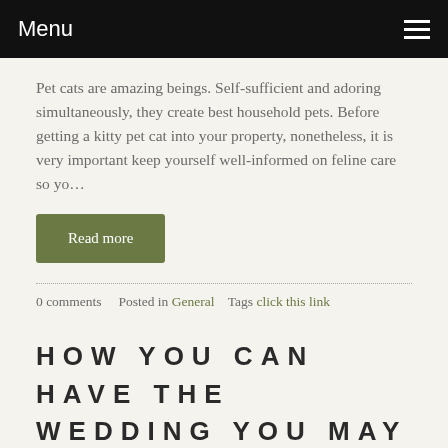Menu
Pet cats are amazing beings. Self-sufficient and adoring simultaneously, they create best household pets. Before getting a kitty pet cat into your property, nonetheless, it is very important keep yourself well-informed on feline care so yo…
Read more
0 comments   Posted in General   Tags click this link
HOW YOU CAN HAVE THE WEDDING YOU MAY HAVE ALWAYS DREAMED OF